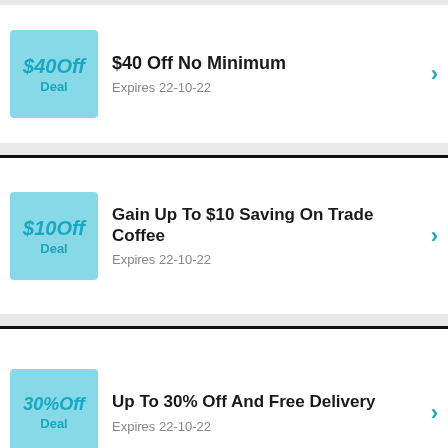[Figure (infographic): Deal card: $40Off badge on light blue background, Deal label]
$40 Off No Minimum
Expires 22-10-22
[Figure (infographic): Deal card: $10Off badge on light blue background, Deal label]
Gain Up To $10 Saving On Trade Coffee
Expires 22-10-22
[Figure (infographic): Deal card: 30%Off badge on light blue background, Deal label]
Up To 30% Off And Free Delivery
Expires 22-10-22